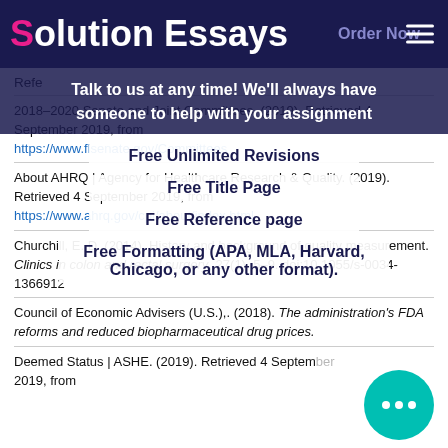Solution Essays | Order Now
Refe
2018–2020 Senate and Joint Committees. (2019). Retrieved 4 September 2019, from https://www.flsenate.gov/Committees
About AHRQ | Agency for Healthcare Research & Quality. (2019). Retrieved 4 September 2019, from https://www.ahrq.gov/cpi/about/index.html
Churchill, E. D. (2014). History and background of quality measurement. Clinics in colon and rectal surgery, 27(1), 5–9. doi:10.1055/s-0034-1366912
Council of Economic Advisers (U.S.),. (2018). The administration's FDA reforms and reduced biopharmaceutical drug prices.
Deemed Status | ASHE. (2019). Retrieved 4 September 2019, from
[Figure (infographic): Overlay promotional banner: 'Talk to us at any time! We'll always have someone to help with your assignment', with items: Free Unlimited Revisions, Free Title Page, Free Reference page, Free Formatting (APA, MLA, Harvard, Chicago, or any other format).]
[Figure (infographic): Teal chat bubble with three white dots in the bottom right corner]